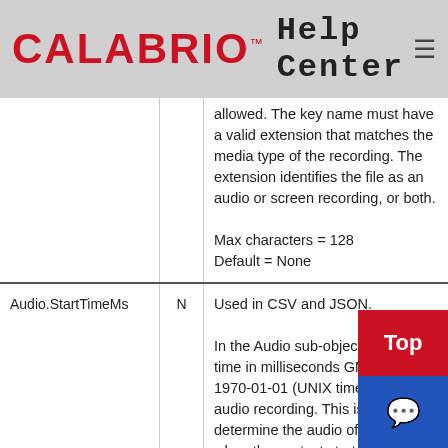CALABRIO™ Help Center
allowed. The key name must have a valid extension that matches the media type of the recording. The extension identifies the file as an audio or screen recording, or both.

Max characters = 128
Default = None
| Field | Req | Description |
| --- | --- | --- |
| Audio.StartTimeMs | N | Used in CSV and JSON.

In the Audio sub-object. The start time in milliseconds GMT since 1970-01-01 (UNIX time) of the audio recording. This is used to determine the audio offset from when the contact starts. |